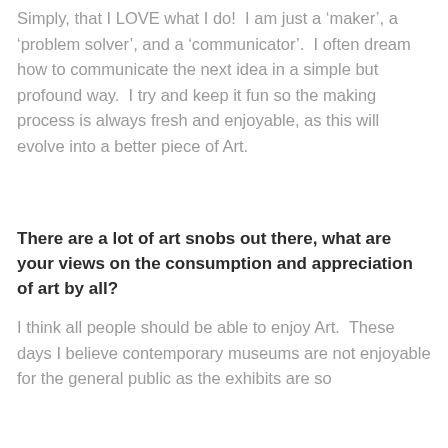Simply, that I LOVE what I do!  I am just a 'maker', a 'problem solver', and a 'communicator'.  I often dream how to communicate the next idea in a simple but profound way.  I try and keep it fun so the making process is always fresh and enjoyable, as this will evolve into a better piece of Art.
There are a lot of art snobs out there, what are your views on the consumption and appreciation of art by all?
I think all people should be able to enjoy Art.  These days I believe contemporary museums are not enjoyable for the general public as the exhibits are so